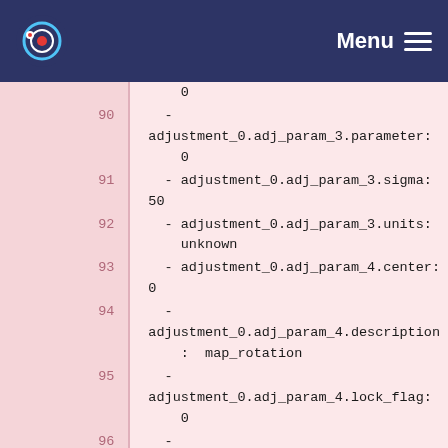Menu
Code listing lines 90-101: adjustment_0 parameter configuration in YAML format